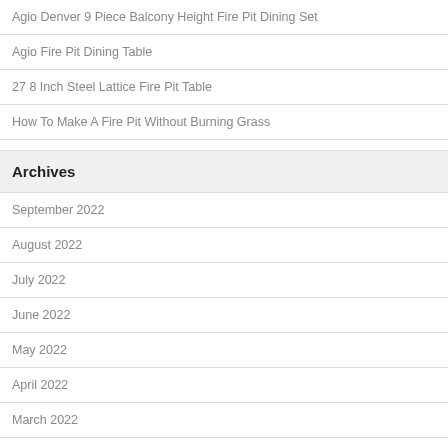Agio Denver 9 Piece Balcony Height Fire Pit Dining Set
Agio Fire Pit Dining Table
27 8 Inch Steel Lattice Fire Pit Table
How To Make A Fire Pit Without Burning Grass
Archives
September 2022
August 2022
July 2022
June 2022
May 2022
April 2022
March 2022
February 2022